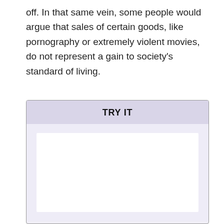off. In that same vein, some people would argue that sales of certain goods, like pornography or extremely violent movies, do not represent a gain to society's standard of living.
[Figure (other): A 'TRY IT' interactive box with a lavender header and a white content area on a light purple background.]